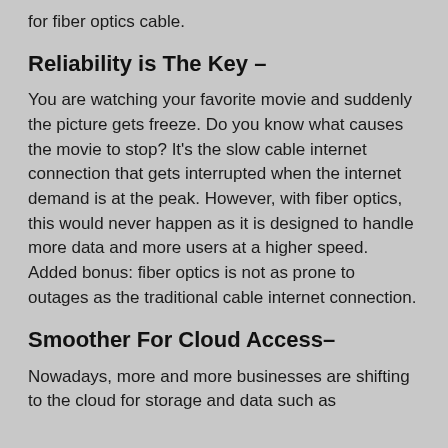for fiber optics cable.
Reliability is The Key –
You are watching your favorite movie and suddenly the picture gets freeze. Do you know what causes the movie to stop? It's the slow cable internet connection that gets interrupted when the internet demand is at the peak. However, with fiber optics, this would never happen as it is designed to handle more data and more users at a higher speed. Added bonus: fiber optics is not as prone to outages as the traditional cable internet connection.
Smoother For Cloud Access–
Nowadays, more and more businesses are shifting to the cloud for storage and data such as